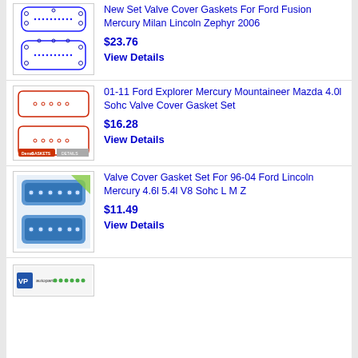[Figure (photo): Product image of blue valve cover gasket set outline drawing for Ford Fusion Mercury Milan Lincoln Zephyr]
New Set Valve Cover Gaskets For Ford Fusion Mercury Milan Lincoln Zephyr 2006
$23.76
View Details
[Figure (photo): Product image of red outline valve cover gasket set for Ford Explorer Mercury Mountaineer Mazda]
01-11 Ford Explorer Mercury Mountaineer Mazda 4.0l Sohc Valve Cover Gasket Set
$16.28
View Details
[Figure (photo): Product image of blue rubber valve cover gasket set with bolt holes]
Valve Cover Gasket Set For 96-04 Ford Lincoln Mercury 4.6l 5.4l V8 Sohc L M Z
$11.49
View Details
[Figure (photo): Partial product image with VP autoparts logo]